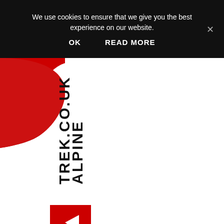We use cookies to ensure that we give you the best experience on our website.
OK   READ MORE
[Figure (logo): AlpineTrek.co.uk logo: vertical text reading ALPINE TREK.CO.UK with a red square icon showing a white mountain silhouette and a left-pointing triangle. Background has a red mountain shape in upper left.]